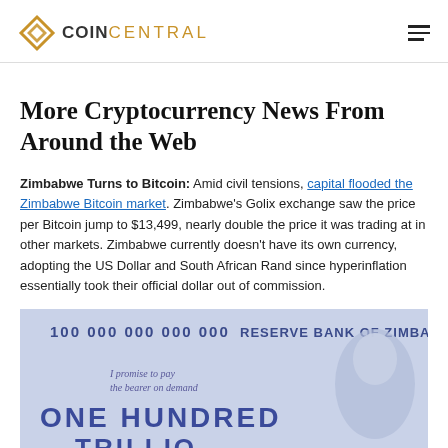COIN CENTRAL
More Cryptocurrency News From Around the Web
Zimbabwe Turns to Bitcoin: Amid civil tensions, capital flooded the Zimbabwe Bitcoin market. Zimbabwe's Golix exchange saw the price per Bitcoin jump to $13,499, nearly double the price it was trading at in other markets. Zimbabwe currently doesn't have its own currency, adopting the US Dollar and South African Rand since hyperinflation essentially took their official dollar out of commission.
[Figure (photo): Photo of a Zimbabwe bank note reading '100 000 000 000 000 RESERVE BANK OF ZIMBABWE' and 'ONE HUNDRED TRILLION' with the text 'I promise to pay the bearer on demand']